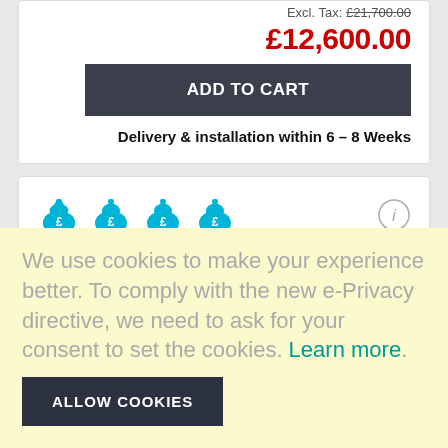Excl. Tax: £21,700.00
£12,600.00
ADD TO CART
Delivery & installation within 6 – 8 Weeks
[Figure (illustration): Four cyan money bag icons with £ symbol, and an info circle icon on the right]
[Figure (illustration): Three red flame icons followed by one grey/outline flame icon]
We use cookies to make your experience better. To comply with the new e-Privacy directive, we need to ask for your consent to set the cookies. Learn more.
ALLOW COOKIES